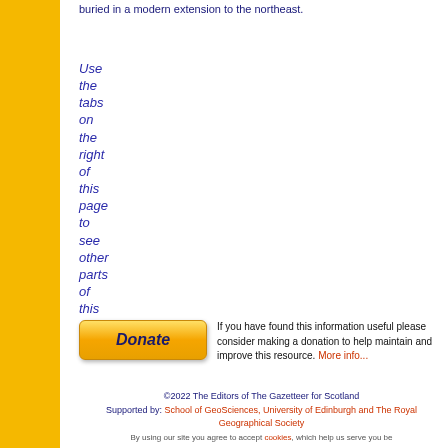buried in a modern extension to the northeast.
Use the tabs on the right of this page to see other parts of this entry
[Figure (other): Donate button with golden gradient styling and italic bold text 'Donate']
If you have found this information useful please consider making a donation to help maintain and improve this resource. More info...
©2022 The Editors of The Gazetteer for Scotland
Supported by: School of GeoSciences, University of Edinburgh and The Royal Geographical Society
By using our site you agree to accept cookies, which help us serve you be